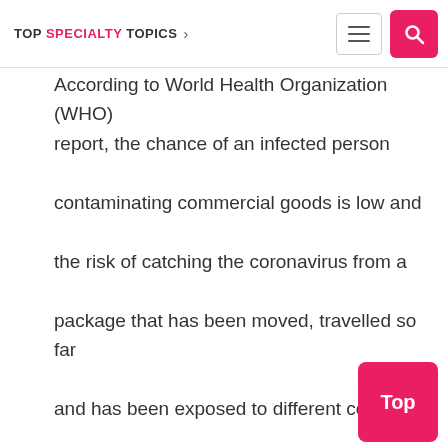TOP SPECIALTY TOPICS
According to World Health Organization (WHO) report, the chance of an infected person contaminating commercial goods is low and the risk of catching the coronavirus from a package that has been moved, travelled so far and has been exposed to different countries and temperature is also low.
According to Center for Disease Control, due to the poor survivability of these coronaviruses on these surfaces, there is very low risk of from products or packaging that are shipped